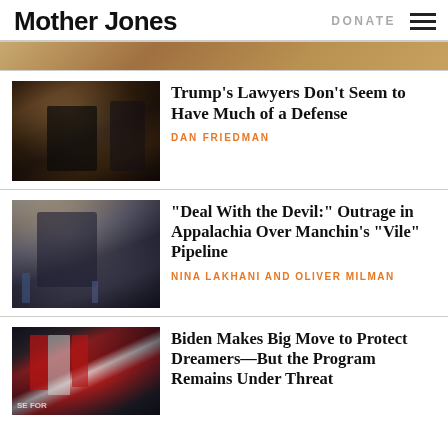Mother Jones | DONATE
[Figure (photo): Partial top of a photo, warm brown tones, cropped]
Trump’s Lawyers Don’t Seem to Have Much of a Defense
DAN FRIEDMAN
[Figure (photo): Politician being interviewed with microphones]
“Deal With the Devil:” Outrage in Appalachia Over Manchin’s “Vile” Pipeline
NINA LAKHANI AND OLIVER MILMAN
[Figure (photo): Protest scene with American and red flags]
Biden Makes Big Move to Protect Dreamers—But the Program Remains Under Threat